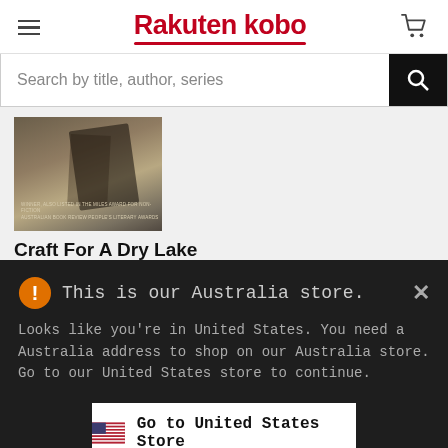Rakuten kobo
Search by title, author, series
[Figure (photo): Book cover of 'Craft For A Dry Lake' by Kim Mahood, sepia-toned image showing tools or objects on a dry surface]
Craft For A Dry Lake
Kim Mahood
★★★★☆ (4 out of 5 stars)
This is our Australia store.
Looks like you're in United States. You need a Australia address to shop on our Australia store. Go to our United States store to continue.
Go to United States Store
Choose another store